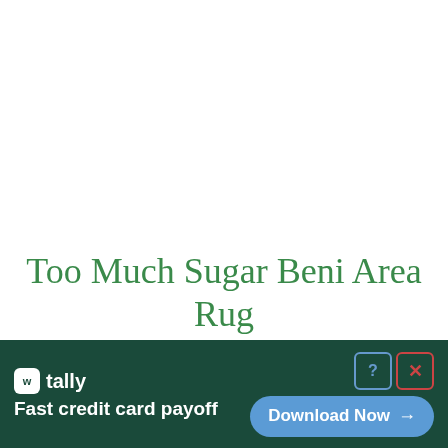Too Much Sugar Beni Area Rug
[Figure (infographic): Advertisement banner for Tally app. Dark green background with Tally logo and icon on the left, text 'Fast credit card payoff' below the logo. On the right side: help (?) and close (X) icons at top right, and a blue 'Download Now →' button.]